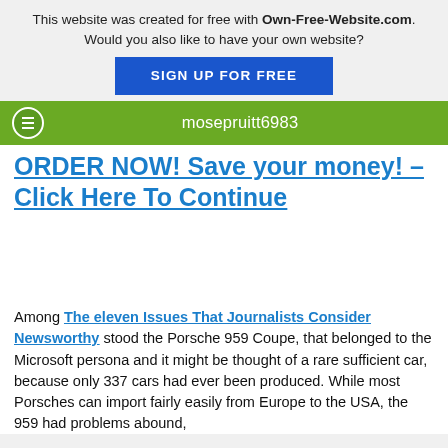This website was created for free with Own-Free-Website.com. Would you also like to have your own website? SIGN UP FOR FREE
mosepruitt6983
ORDER NOW! Save your money! – Click Here To Continue
Among The eleven Issues That Journalists Consider Newsworthy stood the Porsche 959 Coupe, that belonged to the Microsoft persona and it might be thought of a rare sufficient car, because only 337 cars had ever been produced. While most Porsches can import fairly easily from Europe to the USA, the 959 had problems abound,